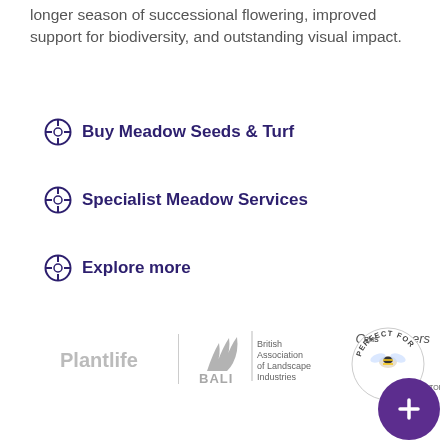longer season of successional flowering, improved support for biodiversity, and outstanding visual impact.
Buy Meadow Seeds & Turf
Specialist Meadow Services
Explore more
Our Partners
[Figure (logo): Plantlife partner logo (grey text)]
[Figure (logo): BALI - British Association of Landscape Industries logo]
[Figure (logo): RHS Perfect for Pollinators badge with purple plus button overlay]